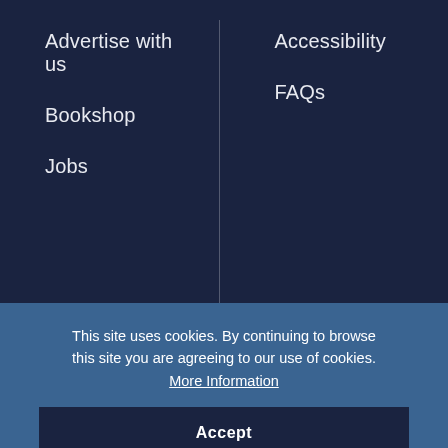Advertise with us
Bookshop
Jobs
Accessibility
FAQs
[Figure (logo): LRB circular logo with text LRB inside a circle]
[Figure (illustration): Circular button with upward arrow icon]
This site uses cookies. By continuing to browse this site you are agreeing to our use of cookies. More Information
Accept